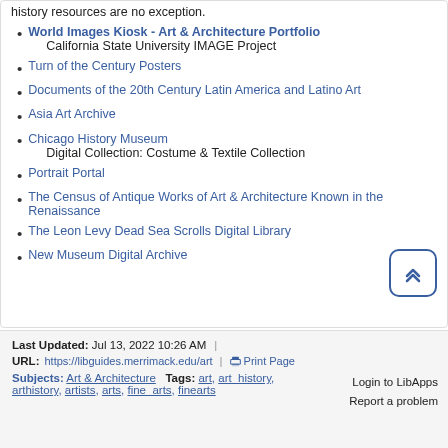history resources are no exception.
World Images Kiosk - Art & Architecture Portfolio
California State University IMAGE Project
Turn of the Century Posters
Documents of the 20th Century Latin America and Latino Art
Asia Art Archive
Chicago History Museum
Digital Collection: Costume & Textile Collection
Portrait Portal
The Census of Antique Works of Art & Architecture Known in the Renaissance
The Leon Levy Dead Sea Scrolls Digital Library
New Museum Digital Archive
Last Updated: Jul 13, 2022 10:26 AM | URL: https://libguides.merrimack.edu/art | Print Page | Login to LibApps | Report a problem | Subjects: Art & Architecture Tags: art, art_history, arthistory, artists, arts, fine_arts, finearts